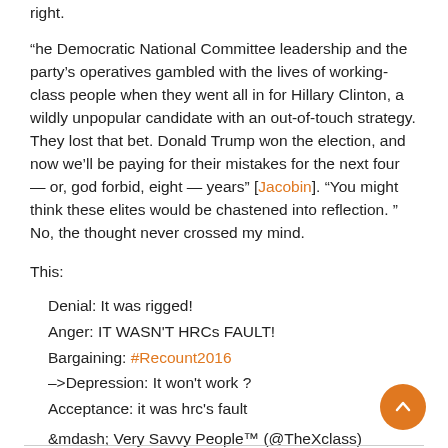right.
“he Democratic National Committee leadership and the party’s operatives gambled with the lives of working-class people when they went all in for Hillary Clinton, a wildly unpopular candidate with an out-of-touch strategy. They lost that bet. Donald Trump won the election, and now we’ll be paying for their mistakes for the next four — or, god forbid, eight — years” [Jacobin]. “You might think these elites would be chastened into reflection. ” No, the thought never crossed my mind.
This:
Denial: It was rigged!
Anger: IT WASN&#39;T HRCs FAULT!
Bargaining: #Recount2016
–&gt;Depression: It won&#39;t work ?
Acceptance: it was hrc&#39;s fault
&mdash; Very Savvy People™ (@TheXclass)
December 3, 2016
And then there’s this: